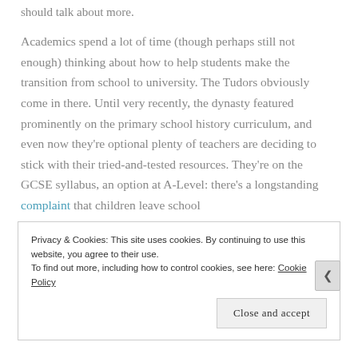should talk about more.
Academics spend a lot of time (though perhaps still not enough) thinking about how to help students make the transition from school to university. The Tudors obviously come in there. Until very recently, the dynasty featured prominently on the primary school history curriculum, and even now they're optional plenty of teachers are deciding to stick with their tried-and-tested resources. They're on the GCSE syllabus, an option at A-Level: there's a longstanding complaint that children leave school
Privacy & Cookies: This site uses cookies. By continuing to use this website, you agree to their use.
To find out more, including how to control cookies, see here: Cookie Policy
Close and accept